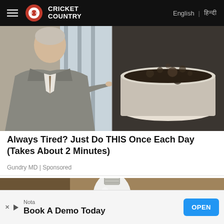Cricket Country | English | हिन्दी
[Figure (photo): Split image: left side shows a man in a grey suit pointing to his right; right side shows a pot of boiling dark liquid.]
Always Tired? Just Do THIS Once Each Day (Takes About 2 Minutes)
Gundry MD | Sponsored
[Figure (photo): Hand holding a white LED light bulb against a brown background.]
Nota
Book A Demo Today
OPEN